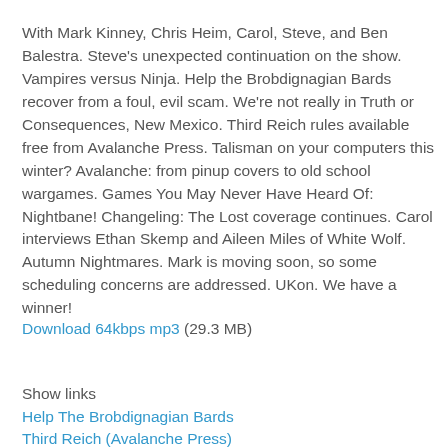With Mark Kinney, Chris Heim, Carol, Steve, and Ben Balestra. Steve's unexpected continuation on the show. Vampires versus Ninja. Help the Brobdignagian Bards recover from a foul, evil scam. We're not really in Truth or Consequences, New Mexico. Third Reich rules available free from Avalanche Press. Talisman on your computers this winter? Avalanche: from pinup covers to old school wargames. Games You May Never Have Heard Of: Nightbane! Changeling: The Lost coverage continues. Carol interviews Ethan Skemp and Aileen Miles of White Wolf. Autumn Nightmares. Mark is moving soon, so some scheduling concerns are addressed. UKon. We have a winner!
Download 64kbps mp3 (29.3 MB)
Show links
Help The Brobdignagian Bards
Third Reich (Avalanche Press)